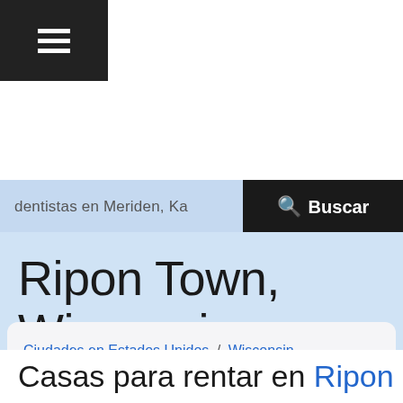[Figure (screenshot): Hamburger menu icon (three horizontal white lines on dark background)]
dentistas en Meriden, Ka
🔍 Buscar
Ripon Town, Wisconsin
Ciudades en Estados Unidos / Wisconsin / Fond du Lac / Ripon Town / Servicios en Ripon Town, Wisconsin / Casas para rentar en Ripon Town, Wisconsin
Casas para rentar en Ripon